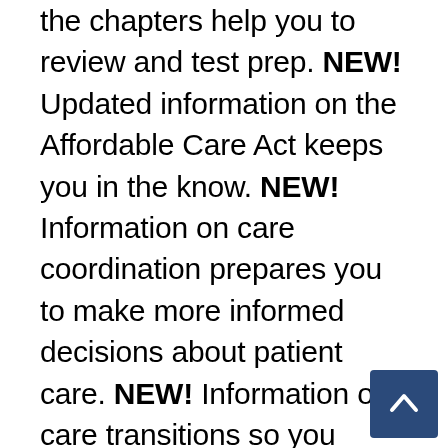the chapters help you to review and test prep. NEW! Updated information on the Affordable Care Act keeps you in the know. NEW! Information on care coordination prepares you to make more informed decisions about patient care. NEW! Information on care transitions so you know what to expect upon entering the workforce. NEW! Increased content on diversity in nursing, ethnocentrism, moral distress and moral courage, communication models (SBAR, CUS and others), and RN to BSN education. NEW! Cognitive rehearsal prepares you for the unlikely threat of lateral violence NEW! Tips on documentation include both electroni… paper types. NEW! Social justice in nu…